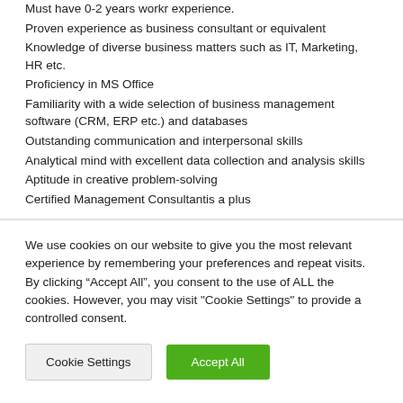Must have 0-2 years workr experience.
Proven experience as business consultant or equivalent
Knowledge of diverse business matters such as IT, Marketing, HR etc.
Proficiency in MS Office
Familiarity with a wide selection of business management software (CRM, ERP etc.) and databases
Outstanding communication and interpersonal skills
Analytical mind with excellent data collection and analysis skills
Aptitude in creative problem-solving
Certified Management Consultantis a plus
We use cookies on our website to give you the most relevant experience by remembering your preferences and repeat visits. By clicking “Accept All”, you consent to the use of ALL the cookies. However, you may visit "Cookie Settings" to provide a controlled consent.